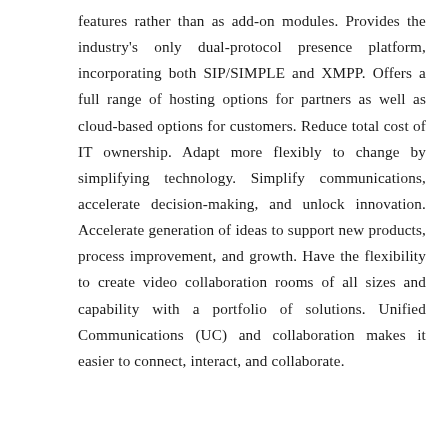features rather than as add-on modules. Provides the industry's only dual-protocol presence platform, incorporating both SIP/SIMPLE and XMPP. Offers a full range of hosting options for partners as well as cloud-based options for customers. Reduce total cost of IT ownership. Adapt more flexibly to change by simplifying technology. Simplify communications, accelerate decision-making, and unlock innovation. Accelerate generation of ideas to support new products, process improvement, and growth. Have the flexibility to create video collaboration rooms of all sizes and capability with a portfolio of solutions. Unified Communications (UC) and collaboration makes it easier to connect, interact, and collaborate.